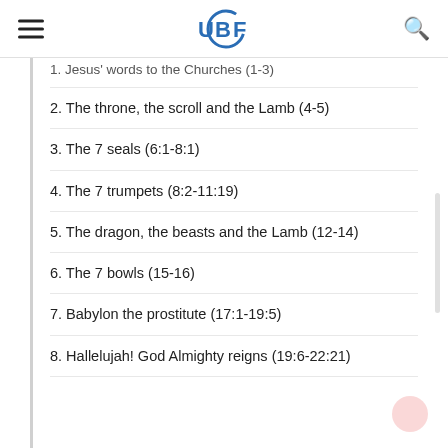UBF
1. Jesus' words to the Churches (1-3)
2. The throne, the scroll and the Lamb (4-5)
3. The 7 seals (6:1-8:1)
4. The 7 trumpets (8:2-11:19)
5. The dragon, the beasts and the Lamb (12-14)
6. The 7 bowls (15-16)
7. Babylon the prostitute (17:1-19:5)
8. Hallelujah! God Almighty reigns (19:6-22:21)